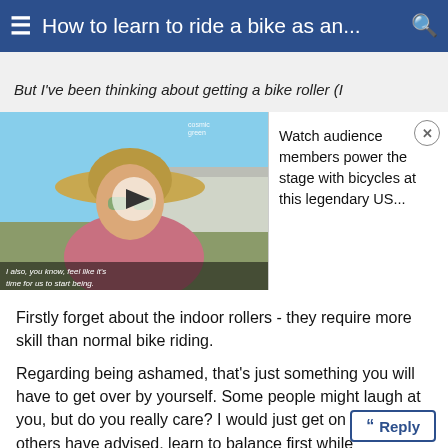≡ How to learn to ride a bike as an... 🔍
But I've been thinking about getting a bike roller (I
[Figure (screenshot): Video thumbnail showing a woman in a wide-brimmed hat outdoors, with a play button overlay and caption text 'I also, you know, feel like it's time for us to start being.' alongside an ad reading 'Watch audience members power the stage with bicycles at this legendary US...' with a close button]
Firstly forget about the indoor rollers - they require more skill than normal bike riding.
Regarding being ashamed, that's just something you will have to get over by yourself. Some people might laugh at you, but do you really care? I would just get on with it. As others have advised, learn to balance first while "Flintstoning" along with your feet and take it from there.